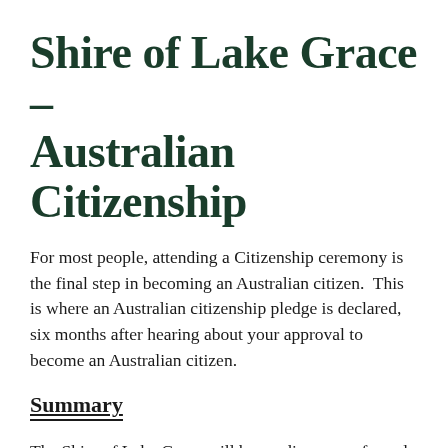Shire of Lake Grace – Australian Citizenship
For most people, attending a Citizenship ceremony is the final step in becoming an Australian citizen.  This is where an Australian citizenship pledge is declared, six months after hearing about your approval to become an Australian citizen.
Summary
The Shire of Lake Grace will be sending you a formal letter of invitation followed up by a telephone call to attend a Citizenship ceremony at least four (4) weeks before the event.  The letter will outline the date, time and place of ceremony; unfortunately, you cannot